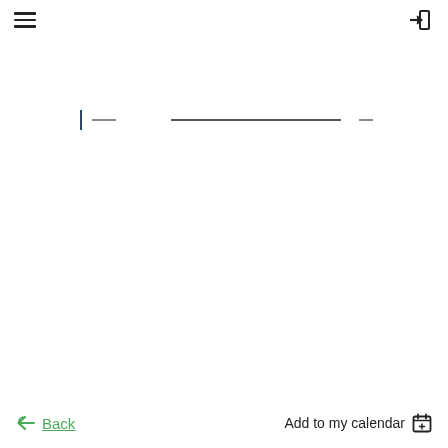[Figure (screenshot): Top navigation bar with hamburger menu icon on the left and login/arrow icon on the right]
[Figure (screenshot): Search input bar with a blinking cursor, two dashes, a long underline, and a dash — representing an empty search form]
[Figure (screenshot): Bottom bar with a green Back button (arrow + text) on the left and an Add to my calendar button with calendar icon on the right]